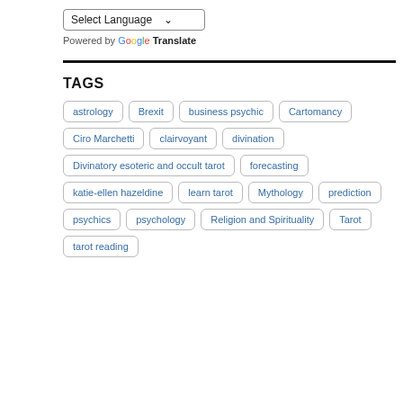Select Language
Powered by Google Translate
TAGS
astrology
Brexit
business psychic
Cartomancy
Ciro Marchetti
clairvoyant
divination
Divinatory esoteric and occult tarot
forecasting
katie-ellen hazeldine
learn tarot
Mythology
prediction
psychics
psychology
Religion and Spirituality
Tarot
tarot reading